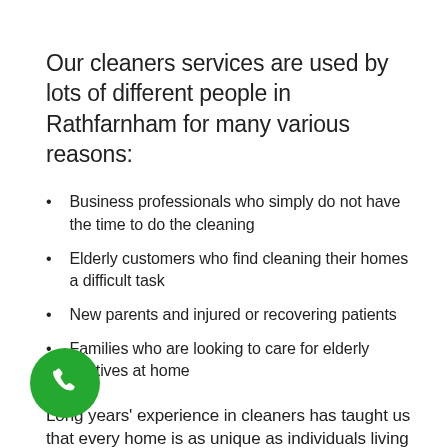Our cleaners services are used by lots of different people in Rathfarnham for many various reasons:
Business professionals who simply do not have the time to do the cleaning
Elderly customers who find cleaning their homes a difficult task
New parents and injured or recovering patients
Families who are looking to care for elderly relatives at home
Long years' experience in cleaners has taught us that every home is as unique as individuals living there. Therefore we customise our cleaning services to match your house and your
[Figure (other): Green circular phone call button icon in bottom left corner]